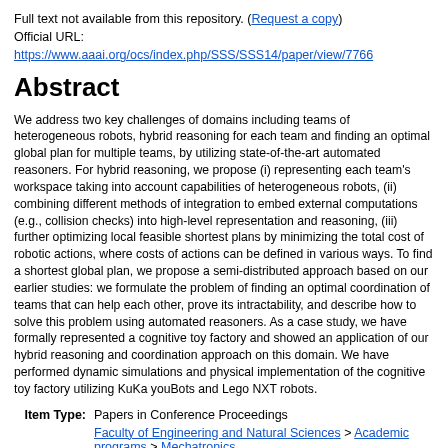Full text not available from this repository. (Request a copy)
Official URL:
https://www.aaai.org/ocs/index.php/SSS/SSS14/paper/view/7766
Abstract
We address two key challenges of domains including teams of heterogeneous robots, hybrid reasoning for each team and finding an optimal global plan for multiple teams, by utilizing state-of-the-art automated reasoners. For hybrid reasoning, we propose (i) representing each team's workspace taking into account capabilities of heterogeneous robots, (ii) combining different methods of integration to embed external computations (e.g., collision checks) into high-level representation and reasoning, (iii) further optimizing local feasible shortest plans by minimizing the total cost of robotic actions, where costs of actions can be defined in various ways. To find a shortest global plan, we propose a semi-distributed approach based on our earlier studies: we formulate the problem of finding an optimal coordination of teams that can help each other, prove its intractability, and describe how to solve this problem using automated reasoners. As a case study, we have formally represented a cognitive toy factory and showed an application of our hybrid reasoning and coordination approach on this domain. We have performed dynamic simulations and physical implementation of the cognitive toy factory utilizing KuKa youBots and Lego NXT robots.
Item Type:   Papers in Conference Proceedings
Faculty of Engineering and Natural Sciences > Academic programs > Mechatronics